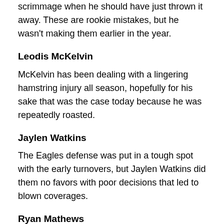scrimmage when he should have just thrown it away. These are rookie mistakes, but he wasn't making them earlier in the year.
Leodis McKelvin
McKelvin has been dealing with a lingering hamstring injury all season, hopefully for his sake that was the case today because he was repeatedly roasted.
Jaylen Watkins
The Eagles defense was put in a tough spot with the early turnovers, but Jaylen Watkins did them no favors with poor decisions that led to blown coverages.
Ryan Mathews
Riding a hot hand of Darren Sproles is one thing, but